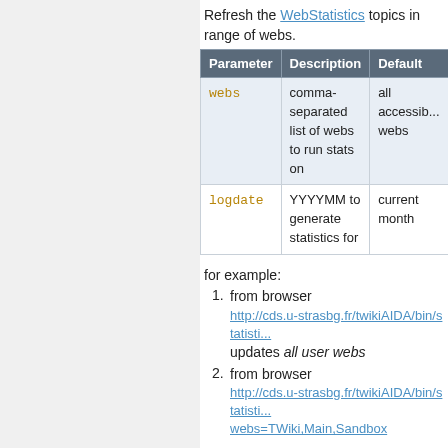Refresh the WebStatistics topics in range of webs.
| Parameter | Description | Default |
| --- | --- | --- |
| webs | comma-separated list of webs to run stats on | all accessible webs |
| logdate | YYYYMM to generate statistics for | current month |
for example:
1. from browser
http://cds.u-strasbg.fr/twikiAIDA/bin/statisti...
updates all user webs
2. from browser
http://cds.u-strasbg.fr/twikiAIDA/bin/statisti...
webs=TWiki,Main,Sandbox